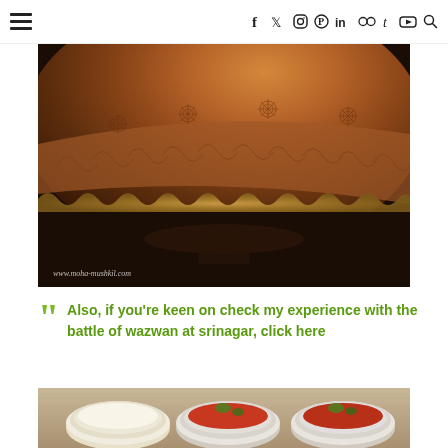≡  f  twitter  instagram  pinterest  in  flickr  t  youtube  search
[Figure (photo): Close-up of an ornately engraved copper/bronze vessel or pot with intricate floral and leaf patterns, photographed from above showing the curved lid and decorative rim. Watermark reads www.moha-mushkil.com]
Also, if you're keen on check my experience with the battle of wazwan at srinagar, click here
[Figure (photo): Three white ceramic bowls filled with Indian/Kashmiri food dishes - one with a white creamy dish and two with red tomato-based curry dishes garnished with fresh herbs, placed on a woven/bamboo mat]